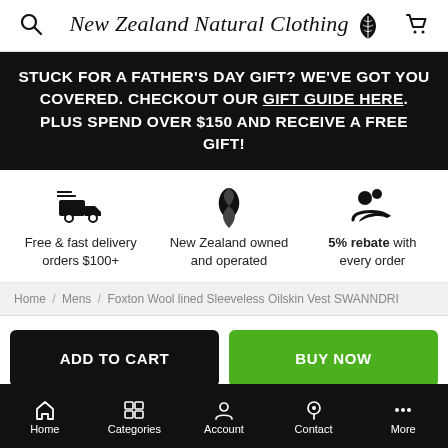New Zealand Natural Clothing
STUCK FOR A FATHER'S DAY GIFT? WE'VE GOT YOU COVERED. CHECKOUT OUR GIFT GUIDE HERE. PLUS SPEND OVER $150 AND RECEIVE A FREE GIFT!
Free & fast delivery orders $100+
New Zealand owned and operated
5% rebate with every order
Home / Mens / Foxton Wool lined Sleeveless Oilskin Vest SWANNDRI
ADD TO CART
BUY NOW
Home  Categories  Account  Contact  More